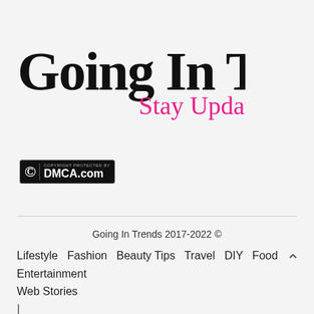[Figure (logo): Going In Trends logo with script text 'Going In Trends' in black and 'Stay Updated' in pink cursive]
[Figure (logo): DMCA.com copyright protection badge with C symbol and black background]
Going In Trends 2017-2022 ©
Lifestyle  Fashion  Beauty Tips  Travel  DIY  Food  Entertainment  Web Stories
|
Ashe Theme by WP Royal.